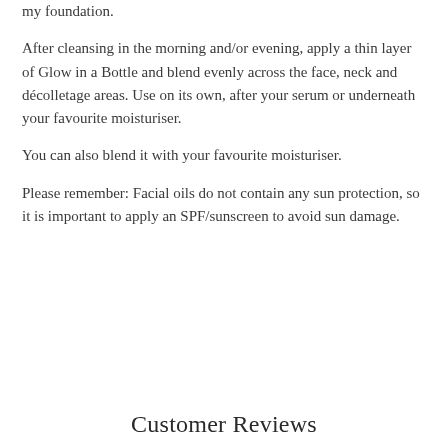my foundation.
After cleansing in the morning and/or evening, apply a thin layer of Glow in a Bottle and blend evenly across the face, neck and décolletage areas. Use on its own, after your serum or underneath your favourite moisturiser.
You can also blend it with your favourite moisturiser.
Please remember: Facial oils do not contain any sun protection, so it is important to apply an SPF/sunscreen to avoid sun damage.
Customer Reviews